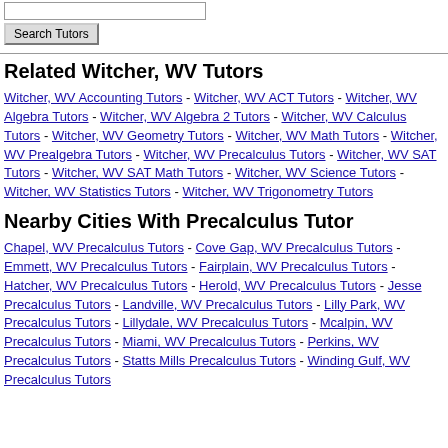[Search box input field]
Search Tutors
Related Witcher, WV Tutors
Witcher, WV Accounting Tutors - Witcher, WV ACT Tutors - Witcher, WV Algebra Tutors - Witcher, WV Algebra 2 Tutors - Witcher, WV Calculus Tutors - Witcher, WV Geometry Tutors - Witcher, WV Math Tutors - Witcher, WV Prealgebra Tutors - Witcher, WV Precalculus Tutors - Witcher, WV SAT Tutors - Witcher, WV SAT Math Tutors - Witcher, WV Science Tutors - Witcher, WV Statistics Tutors - Witcher, WV Trigonometry Tutors
Nearby Cities With Precalculus Tutor
Chapel, WV Precalculus Tutors - Cove Gap, WV Precalculus Tutors - Emmett, WV Precalculus Tutors - Fairplain, WV Precalculus Tutors - Hatcher, WV Precalculus Tutors - Herold, WV Precalculus Tutors - Jesse Precalculus Tutors - Landville, WV Precalculus Tutors - Lilly Park, WV Precalculus Tutors - Lillydale, WV Precalculus Tutors - Mcalpin, WV Precalculus Tutors - Miami, WV Precalculus Tutors - Perkins, WV Precalculus Tutors - Statts Mills Precalculus Tutors - Winding Gulf, WV Precalculus Tutors